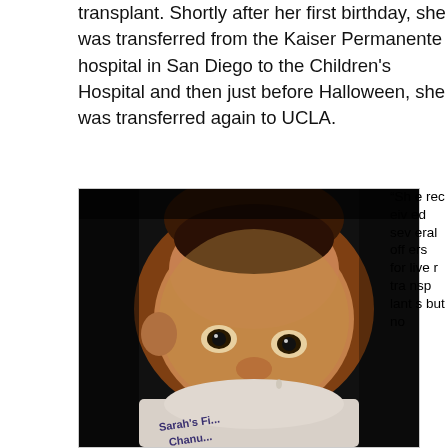transplant. Shortly after her first birthday, she was transferred from the Kaiser Permanente hospital in San Diego to the Children's Hospital and then just before Halloween, she was transferred again to UCLA.
[Figure (photo): Close-up photo of a baby with jaundiced/yellowish skin wearing a white shirt or bib with text 'Sarah's Cha...' visible. The baby is looking at the camera against a dark background.]
“She received several offers for liver transplants but no